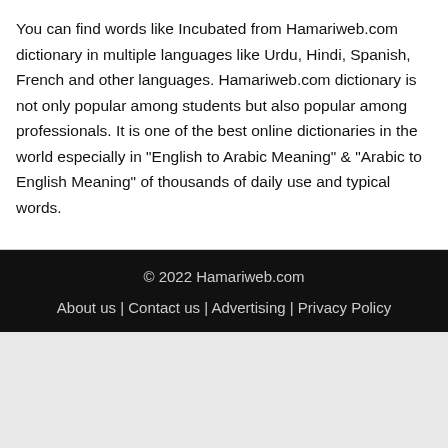You can find words like Incubated from Hamariweb.com dictionary in multiple languages like Urdu, Hindi, Spanish, French and other languages. Hamariweb.com dictionary is not only popular among students but also popular among professionals. It is one of the best online dictionaries in the world especially in "English to Arabic Meaning" & "Arabic to English Meaning" of thousands of daily use and typical words.
© 2022 Hamariweb.com
About us | Contact us | Advertising | Privacy Policy